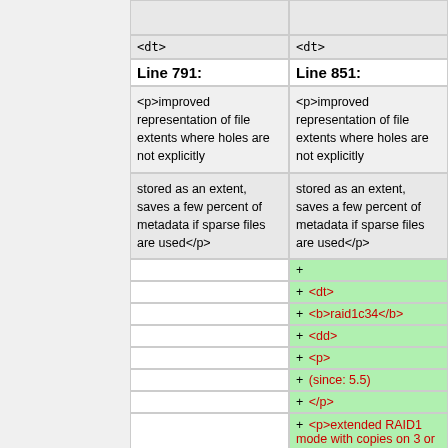| Line 791: | Line 851: |
| --- | --- |
| <dt> | <dt> |
| <p>improved representation of file extents where holes are not explicitly | <p>improved representation of file extents where holes are not explicitly |
| stored as an extent, saves a few percent of metadata if sparse files are used</p> | stored as an extent, saves a few percent of metadata if sparse files are used</p> |
|  | + |
|  | + <dt> |
|  | + <b>raid1c34</b> |
|  | + <dd> |
|  | + <p> |
|  | + (since: 5.5) |
|  | + </p> |
|  | + <p>extended RAID1 mode with copies on 3 or 4 devices |